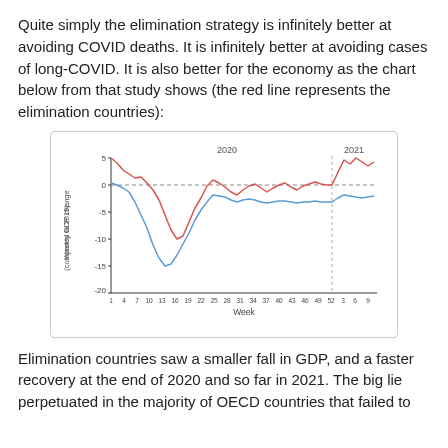Quite simply the elimination strategy is infinitely better at avoiding COVID deaths. It is infinitely better at avoiding cases of long-COVID. It is also better for the economy as the chart below from that study shows (the red line represents the elimination countries):
[Figure (line-chart): Line chart showing weekly GDP change (compared to 2019) over weeks 1-52 of 2020 and weeks 3-9 of 2021. Red line (elimination countries) starts around +5, dips to about -10, then recovers above 0. Blue line (non-elimination countries) starts near +1, dips to about -16, then recovers to around -1 to -2.]
Elimination countries saw a smaller fall in GDP, and a faster recovery at the end of 2020 and so far in 2021. The big lie perpetuated in the majority of OECD countries that failed to